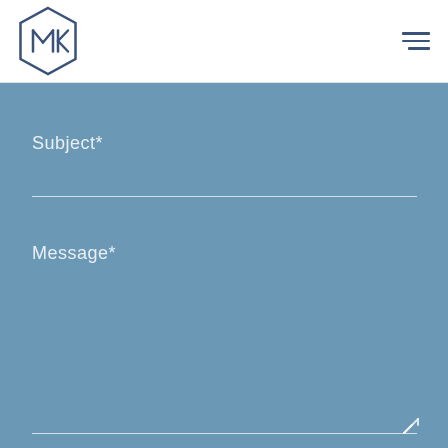[Figure (logo): MK hexagon logo mark in navy blue outline style]
[Figure (other): Hamburger menu icon (three horizontal lines)]
Subject*
Message*